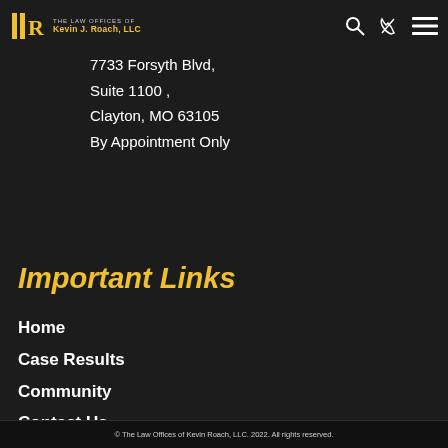The Law Offices of Kevin J. Roach, LLC
7733 Forsyth Blvd, Suite 1100 , Clayton, MO  63105 By Appointment Only
Important Links
Home
Case Results
Community
Contact Us
© The Law Offices of Kevin Roach, LLC. 2022. All rights reserved.